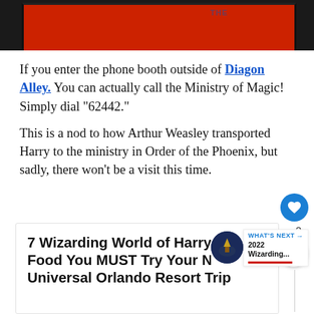[Figure (photo): Top portion of a photo showing a red phone booth with dark borders, partially cropped at the top of the page. A faint watermark text is visible on the right side.]
If you enter the phone booth outside of Diagon Alley. You can actually call the Ministry of Magic! Simply dial "62442."
This is a nod to how Arthur Weasley transported Harry to the ministry in Order of the Phoenix, but sadly, there won't be a visit this time.
7 Wizarding World of Harry Potter Food You MUST Try Your Next Universal Orlando Resort Trip